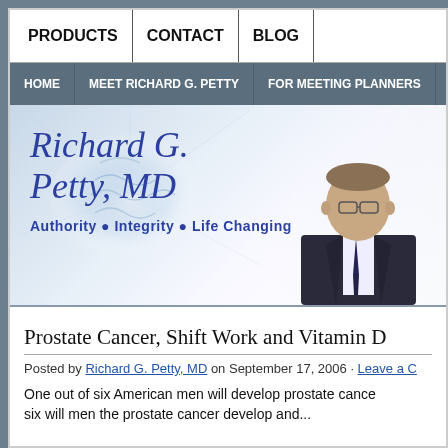PRODUCTS | CONTACT | BLOG
HOME | MEET RICHARD G. PETTY | FOR MEETING PLANNERS | SP...
[Figure (photo): Website banner for Richard G. Petty MD featuring a glowing brain illustration on the left, large blue italic text reading 'Richard G. Petty, MD' with tagline 'Authority • Integrity • Life Changing', and a photo of a man in a dark suit on the right.]
Prostate Cancer, Shift Work and Vitamin D
Posted by Richard G. Petty, MD on September 17, 2006 · Leave a C...
One out of six American men will develop prostate cance...